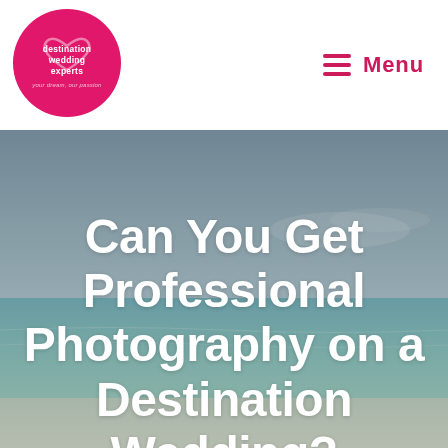[Figure (logo): Destination Wedding Experts logo — pink circle with a heart shape and white text reading 'destination wedding experts']
Menu
[Figure (photo): Aerial beach scene with turquoise ocean water, sandy shore, and a hazy blue-grey sky. Serves as hero background image.]
Can You Get Professional Photography on a Destination Wedding?